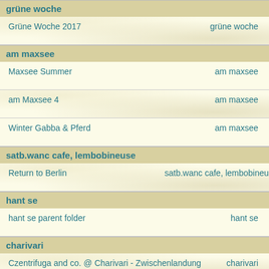grüne woche
| Name | Tag |
| --- | --- |
| Grüne Woche 2017 | grüne woche |
am maxsee
| Name | Tag |
| --- | --- |
| Maxsee Summer | am maxsee |
| am Maxsee 4 | am maxsee |
| Winter Gabba & Pferd | am maxsee |
satb.wanc cafe, lembobineuse
| Name | Tag |
| --- | --- |
| Return to Berlin | satb.wanc cafe, lembobineuse |
hant se
| Name | Tag |
| --- | --- |
| hant se parent folder | hant se |
charivari
| Name | Tag |
| --- | --- |
| Czentrifuga and co. @ Charivari - Zwischenlandung | charivari |
anti gravity week, neonkunst
| Name | Tag |
| --- | --- |
| Anti Gravity Week @ Neonkunst 14.9.2017 | anti gravity week, neonkunst |